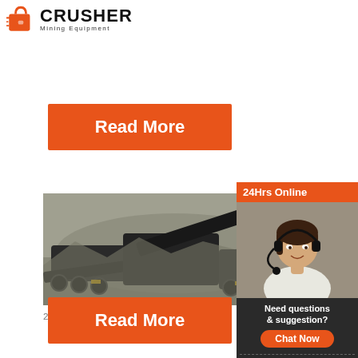[Figure (logo): Crusher Mining Equipment logo with orange shopping bag icon and bold black CRUSHER text]
[Figure (other): Orange Read More button]
[Figure (photo): Mining equipment / crusher machinery on a site with rocky terrain]
Gold - Miner Council South
2021-11-18 · Gold sales increased by 3.7% at
[Figure (other): Orange Read More button]
[Figure (infographic): Sidebar: 24Hrs Online banner, photo of woman with headset, Need questions & suggestion? Chat Now button, Enquiry section, limingjlmofen@sina.com]